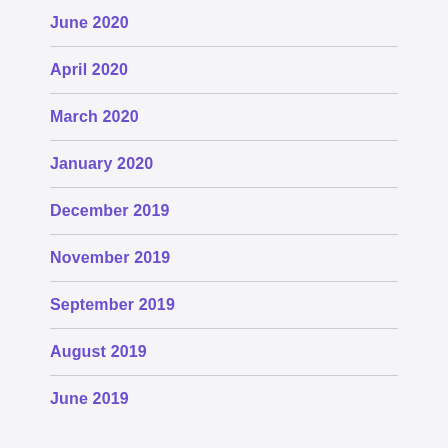June 2020
April 2020
March 2020
January 2020
December 2019
November 2019
September 2019
August 2019
June 2019